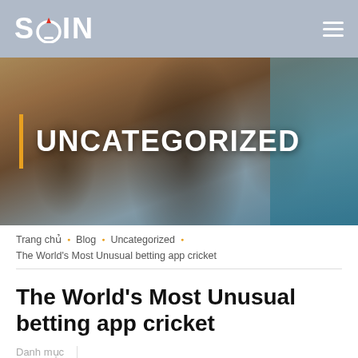SQIN
[Figure (photo): Hero banner image showing students or young people in a classroom/educational setting, overlaid with large bold text 'UNCATEGORIZED' and a yellow vertical bar accent on the left]
Trang chủ · Blog · Uncategorized
The World's Most Unusual betting app cricket
The World's Most Unusual betting app cricket
Danh mục